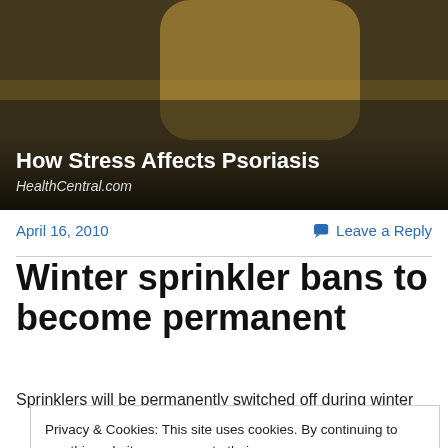[Figure (photo): Hero image showing a person in yellow clothing, overlaid with white text title 'How Stress Affects Psoriasis' and italic text 'HealthCentral.com']
April 16, 2010
💬 Leave a Reply
Winter sprinkler bans to become permanent
Sprinklers will be permanently switched off during winter
Privacy & Cookies: This site uses cookies. By continuing to use this website, you agree to their use.
To find out more, including how to control cookies, see here: Cookie Policy
Close and accept